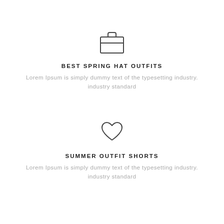[Figure (illustration): Briefcase / bag outline icon]
BEST SPRING HAT OUTFITS
Lorem Ipsum is simply dummy text of the typesetting industry. industry standard
[Figure (illustration): Heart outline icon]
SUMMER OUTFIT SHORTS
Lorem Ipsum is simply dummy text of the typesetting industry. industry standard